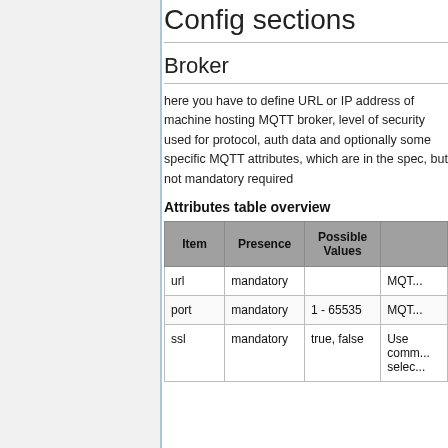Config sections
Broker
here you have to define URL or IP address of machine hosting MQTT broker, level of security used for protocol, auth data and optionally some specific MQTT attributes, which are in the spec, but not mandatory required
Attributes table overview
| Item | Presence | Possible Values |  |
| --- | --- | --- | --- |
| url | mandatory |  | MQT... |
| port | mandatory | 1 - 65535 | MQT... |
| ssl | mandatory | true, false | Use comm... selec... |